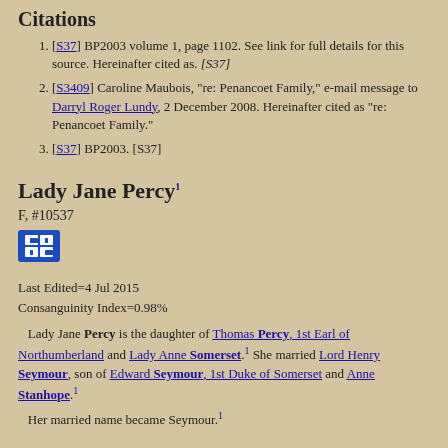Citations
[S37] BP2003 volume 1, page 1102. See link for full details for this source. Hereinafter cited as. [S37]
[S3409] Caroline Maubois, "re: Penancoet Family," e-mail message to Darryl Roger Lundy, 2 December 2008. Hereinafter cited as "re: Penancoet Family."
[S37] BP2003. [S37]
Lady Jane Percy
F, #10537
Last Edited=4 Jul 2015
Consanguinity Index=0.98%
Lady Jane Percy is the daughter of Thomas Percy, 1st Earl of Northumberland and Lady Anne Somerset. She married Lord Henry Seymour, son of Edward Seymour, 1st Duke of Somerset and Anne Stanhope.
Her married name became Seymour.